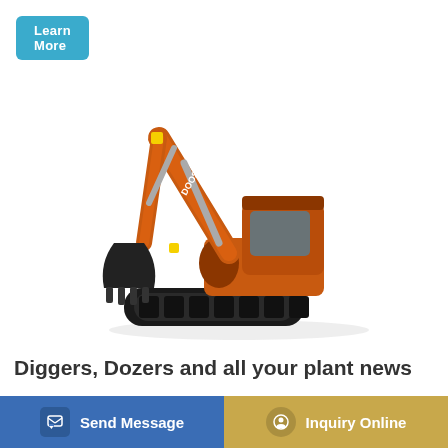[Figure (photo): Orange Doosan tracked excavator / digger on white background, with extended boom arm and bucket.]
Diggers, Dozers and all your plant news
Harry has set-up HJD with his fleet of Kubota machines, including four U17-3 mini diggers, four U27-4 diggers, four [08-5...
[Figure (other): Bottom navigation bar with 'Send Message' button (blue) and 'Inquiry Online' button (gold/tan).]